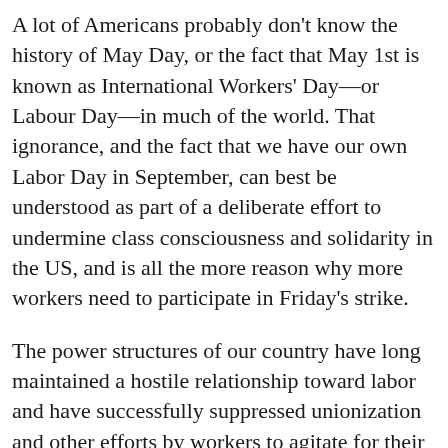A lot of Americans probably don't know the history of May Day, or the fact that May 1st is known as International Workers' Day—or Labour Day—in much of the world. That ignorance, and the fact that we have our own Labor Day in September, can best be understood as part of a deliberate effort to undermine class consciousness and solidarity in the US, and is all the more reason why more workers need to participate in Friday's strike.
The power structures of our country have long maintained a hostile relationship toward labor and have successfully suppressed unionization and other efforts by workers to agitate for their rights. But this May 1st is the perfect time to